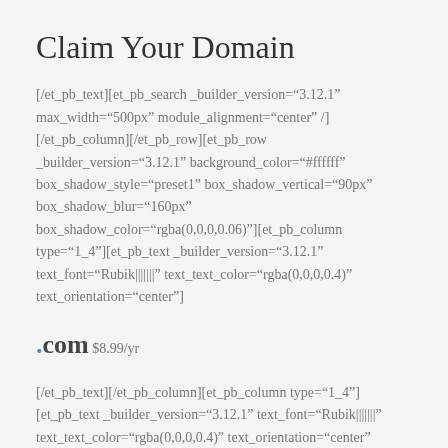Claim Your Domain
[/et_pb_text][et_pb_search _builder_version="3.12.1" max_width="500px" module_alignment="center" /][/et_pb_column][/et_pb_row][et_pb_row _builder_version="3.12.1" background_color="#ffffff" box_shadow_style="preset1" box_shadow_vertical="90px" box_shadow_blur="160px" box_shadow_color="rgba(0,0,0,0.06)"][et_pb_column type="1_4"][et_pb_text _builder_version="3.12.1" text_font="Rubik||||||" text_text_color="rgba(0,0,0,0.4)" text_orientation="center"]
.com $8.99/yr
[/et_pb_text][/et_pb_column][et_pb_column type="1_4"][et_pb_text _builder_version="3.12.1" text_font="Rubik||||||" text_text_color="rgba(0,0,0,0.4)" text_orientation="center" locked="off"]